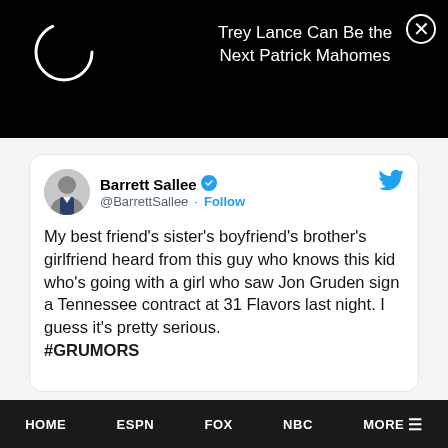[Figure (screenshot): Black top banner with a loading spinner circle on the left and promotional text 'Trey Lance Can Be the Next Patrick Mahomes' in white on the right, with a close (X) button in the top-right corner.]
Trey Lance Can Be the Next Patrick Mahomes
[Figure (screenshot): Embedded tweet card from @BarrettSallee with verified badge and Follow link. Tweet reads: My best friend's sister's boyfriend's brother's girlfriend heard from this guy who knows this kid who's going with a girl who saw Jon Gruden sign a Tennessee contract at 31 Flavors last night. I guess it's pretty serious. #GRUMORS]
Barrett Sallee @BarrettSallee · Follow

My best friend's sister's boyfriend's brother's girlfriend heard from this guy who knows this kid who's going with a girl who saw Jon Gruden sign a Tennessee contract at 31 Flavors last night. I guess it's pretty serious. #GRUMORS
HOME   ESPN   FOX   NBC   MORE